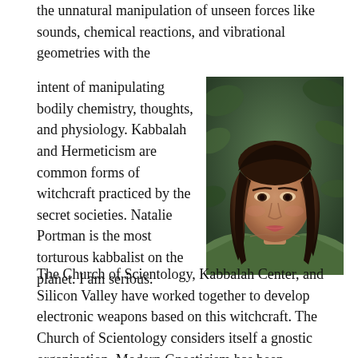the unnatural manipulation of unseen forces like sounds, chemical reactions, and vibrational geometries with the
intent of manipulating bodily chemistry, thoughts, and physiology. Kabbalah and Hermeticism are common forms of witchcraft practiced by the secret societies. Natalie Portman is the most torturous kabbalist on the planet. I am serious.
[Figure (photo): Portrait photo of a woman with long dark hair wearing a green off-shoulder top, against a dark green leafy background]
The Church of Scientology, Kabbalah Center, and Silicon Valley have worked together to develop electronic weapons based on this witchcraft. The Church of Scientology considers itself a gnostic organization. Modern Gnosticism has been connected with Hermeticism which has a focus on alchemy or the manipulation of bodily chemicals. Kabbalah is similar but more about the manipulation of the mind and physiology through geometric sounds and vibrations. The Church of